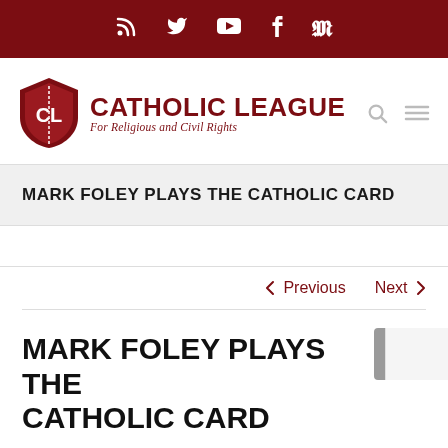Social media icons: RSS, Twitter, YouTube, Facebook, Parler
[Figure (logo): Catholic League shield logo with text: CATHOLIC LEAGUE For Religious and Civil Rights]
MARK FOLEY PLAYS THE CATHOLIC CARD
< Previous   Next >
MARK FOLEY PLAYS THE CATHOLIC CARD